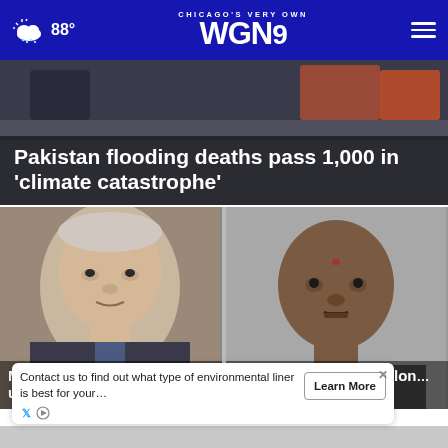CHICAGO'S VERY OWN WGN9 — 88°
Pakistan flooding deaths pass 1,000 in 'climate catastrophe'
Mastriano wore Confederate uniform for fa…
Father charged with felon… for…
Contact us to find out what type of environmental liner is best for your…
Learn More